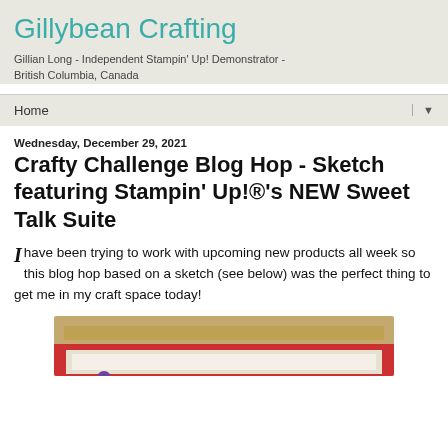Gillybean Crafting
Gillian Long - Independent Stampin' Up! Demonstrator - British Columbia, Canada
Home
Wednesday, December 29, 2021
Crafty Challenge Blog Hop - Sketch featuring Stampin' Up!®'s NEW Sweet Talk Suite
I have been trying to work with upcoming new products all week so this blog hop based on a sketch (see below) was the perfect thing to get me in my craft space today!
[Figure (photo): A handmade card with a red border, a tan/burlap textured background, and a small purple heart embellishment visible in the lower left area.]